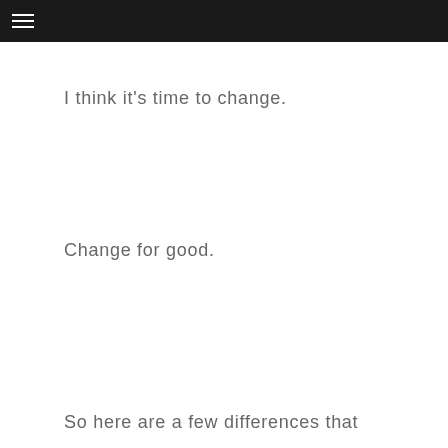≡
I think it's time to change.
Change for good.
So here are a few differences that